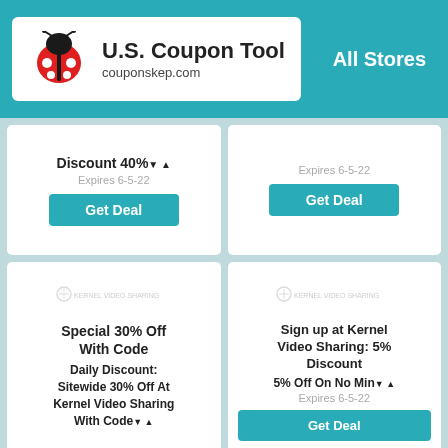U.S. Coupon Tool couponskep.com | All Stores
Discount 40%▼▲
Expires 6-5-22
Get Deal
Expires 6-5-22
Get Deal
[Figure (logo): Kernel Video Sharing placeholder image with icon]
Special 30% Off With Code
Daily Discount: Sitewide 30% Off At Kernel Video Sharing With Code▼▲
[Figure (logo): Kernel Video Sharing placeholder image with icon]
Sign up at Kernel Video Sharing: 5% Discount
5% Off On No Min▼▲
Expires 6-5-22
Get Deal